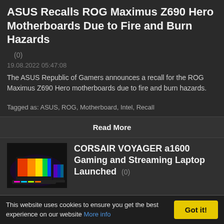ASUS Recalls ROG Maximus Z690 Hero Motherboards Due to Fire and Burn Hazards
(0)
19.08.2022 05:47:08
The ASUS Republic of Gamers announces a recall for the ROG Maximus Z690 Hero motherboards due to fire and burn hazards.
Tagged as: ASUS, ROG, Motherboard, Intel, Recall
Read More
CORSAIR VOYAGER a1600 Gaming and Streaming Laptop Launched (0)
[Figure (photo): CORSAIR VOYAGER a1600 Gaming laptop with RGB keyboard lighting shown open and from side, displayed against dark background]
ASRock Intel Arc A380 Challenger
[Figure (photo): Partial view of ASRock Intel Arc A380 Challenger graphics card, grey/silver colorway]
This website uses cookies to ensure you get the best experience on our website More info
Got it!